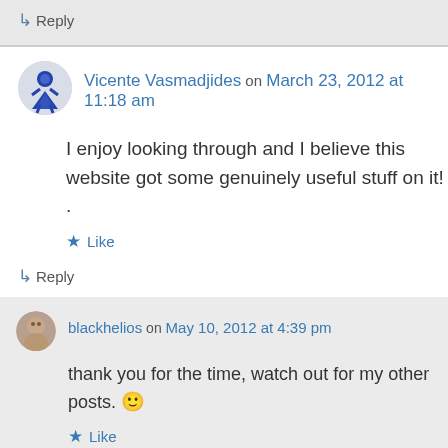↳ Reply
Vicente Vasmadjides on March 23, 2012 at 11:18 am
I enjoy looking through and I believe this website got some genuinely useful stuff on it! .
Like
↳ Reply
blackhelios on May 10, 2012 at 4:39 pm
thank you for the time, watch out for my other posts. 🙂
Like